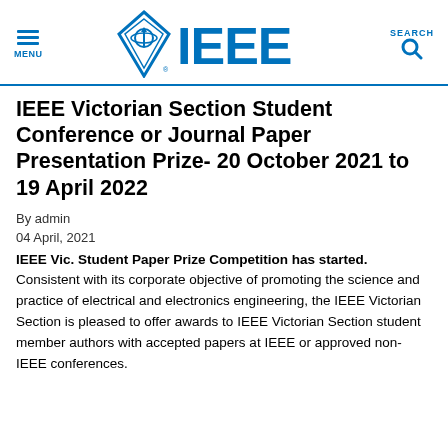MENU / IEEE Logo / SEARCH
IEEE Victorian Section Student Conference or Journal Paper Presentation Prize- 20 October 2021 to 19 April 2022
By admin
04 April, 2021
IEEE Vic. Student Paper Prize Competition has started.
Consistent with its corporate objective of promoting the science and practice of electrical and electronics engineering, the IEEE Victorian Section is pleased to offer awards to IEEE Victorian Section student member authors with accepted papers at IEEE or approved non-IEEE conferences.